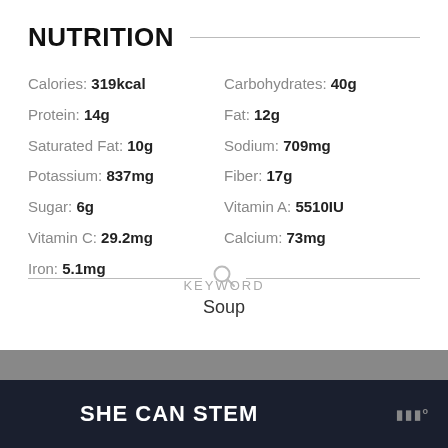NUTRITION
Calories: 319kcal  Carbohydrates: 40g  Protein: 14g  Fat: 12g  Saturated Fat: 10g  Sodium: 709mg  Potassium: 837mg  Fiber: 17g  Sugar: 6g  Vitamin A: 5510IU  Vitamin C: 29.2mg  Calcium: 73mg  Iron: 5.1mg
KEYWORD
Soup
SHE CAN STEM